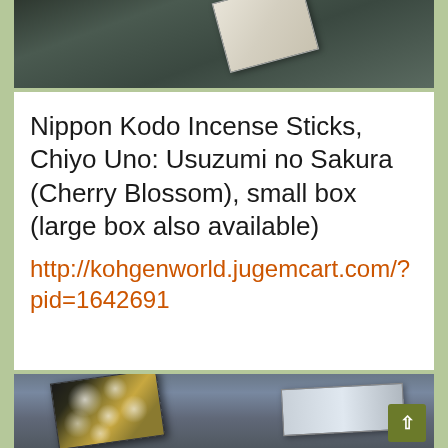[Figure (photo): Partial view of an incense product box on a dark textured background, photographed from above]
Nippon Kodo Incense Sticks, Chiyo Uno: Usuzumi no Sakura (Cherry Blossom), small box
(large box also available)
http://kohgenworld.jugemcart.com/?pid=1642691
[Figure (photo): Nippon Kodo Chiyo Uno incense box with cherry blossom floral design on dark gold background, with inner incense stick tray visible beside it, set against a gray background. A green scroll-to-top button is visible in the bottom right corner.]